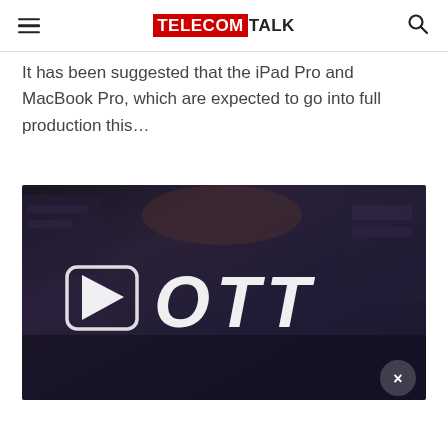TELECOMTALK
It has been suggested that the iPad Pro and MacBook Pro, which are expected to go into full production this…
[Figure (photo): Dark industrial background with large white OTT text and play button icon overlay, with a close (×) button in the bottom-right corner]